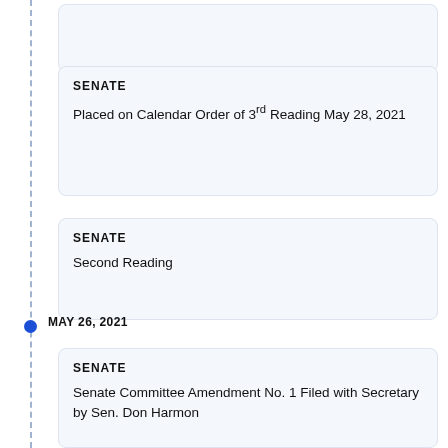SENATE
Placed on Calendar Order of 3rd Reading May 28, 2021
SENATE
Second Reading
MAY 26, 2021
SENATE
Senate Committee Amendment No. 1 Filed with Secretary by Sen. Don Harmon